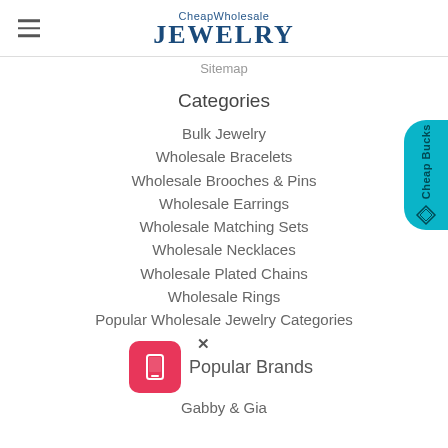CheapWholesale JEWELRY
Sitemap
Categories
Bulk Jewelry
Wholesale Bracelets
Wholesale Brooches & Pins
Wholesale Earrings
Wholesale Matching Sets
Wholesale Necklaces
Wholesale Plated Chains
Wholesale Rings
Popular Wholesale Jewelry Categories
Popular Brands
Gabby & Gia